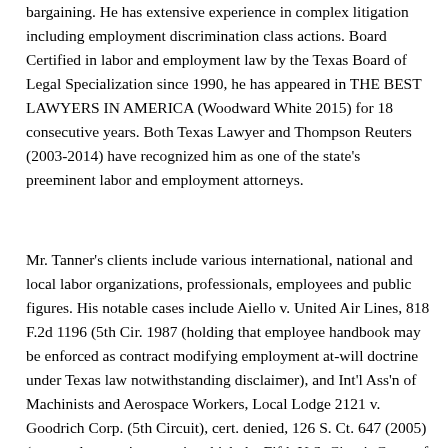bargaining. He has extensive experience in complex litigation including employment discrimination class actions. Board Certified in labor and employment law by the Texas Board of Legal Specialization since 1990, he has appeared in THE BEST LAWYERS IN AMERICA (Woodward White 2015) for 18 consecutive years. Both Texas Lawyer and Thompson Reuters (2003-2014) have recognized him as one of the state's preeminent labor and employment attorneys.
Mr. Tanner's clients include various international, national and local labor organizations, professionals, employees and public figures. His notable cases include Aiello v. United Air Lines, 818 F.2d 1196 (5th Cir. 1987 (holding that employee handbook may be enforced as contract modifying employment at-will doctrine under Texas law notwithstanding disclaimer), and Int'l Ass'n of Machinists and Aerospace Workers, Local Lodge 2121 v. Goodrich Corp. (5th Circuit), cert. denied, 126 S. Ct. 647 (2005) (a precedent-setting case in which the Fifth U.S. Circuit Court of Appeals held that a labor organization had standing to represent retired employees in arbitration proceedings to enforce a retiree medical benefits provision in a